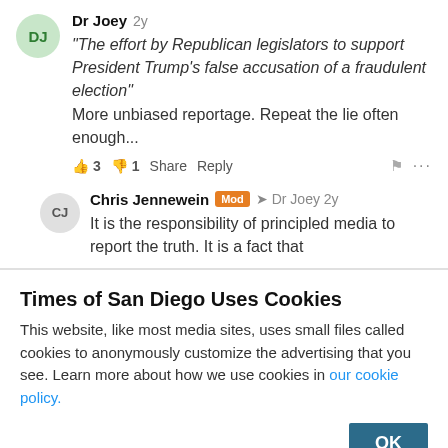Dr Joey 2y
"The effort by Republican legislators to support President Trump's false accusation of a fraudulent election" More unbiased reportage. Repeat the lie often enough...
👍 3 👎 1 Share Reply 🏴 ...
Chris Jennewein Mod → Dr Joey 2y
It is the responsibility of principled media to report the truth. It is a fact that
Times of San Diego Uses Cookies
This website, like most media sites, uses small files called cookies to anonymously customize the advertising that you see. Learn more about how we use cookies in our cookie policy.
OK